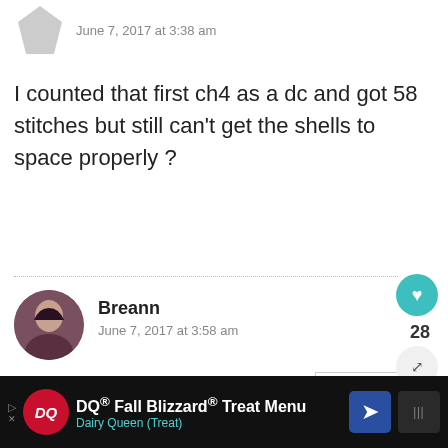June 7, 2017 at 3:38 am
I counted that first ch4 as a dc and got 58 stitches but still can't get the shells to space properly ?
REPLY
28
Breann
June 7, 2017 at 3:58 am
Hello! Are you counting the first ch 3? I'm out of town at the moment, so I'm not able to double
WHAT'S NEXT → Crochet Boho Tank Top
DQ® Fall Blizzard® Treat Menu
Dairy Queen (Treat)